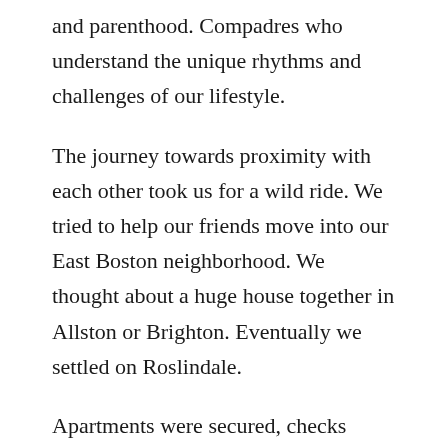and parenthood. Compadres who understand the unique rhythms and challenges of our lifestyle.
The journey towards proximity with each other took us for a wild ride. We tried to help our friends move into our East Boston neighborhood. We thought about a huge house together in Allston or Brighton. Eventually we settled on Roslindale.
Apartments were secured, checks written, arrangements made and two of our three units made the move, but we were still uncertain. Or, I should say: roadblocked. Places fell through, rejection emails were received, the situation looked bleak. Grace and good fortune allowed us to stay in our place until we actually did find something.